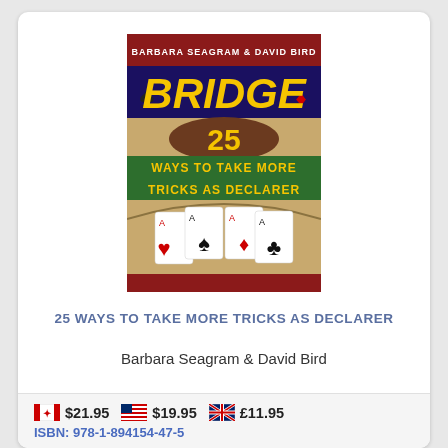[Figure (illustration): Book cover of 'Bridge: 25 Ways to Take More Tricks as Declarer' by Barbara Seagram and David Bird. Features the word BRIDGE in large gold letters on a dark background with card suits, the number 25, and four playing cards (Ace of Hearts, Ace of Spades, Diamond card, Ace of Clubs) displayed prominently.]
25 WAYS TO TAKE MORE TRICKS AS DECLARER
Barbara Seagram & David Bird
$21.95   $19.95   £11.95
ISBN: 978-1-894154-47-5